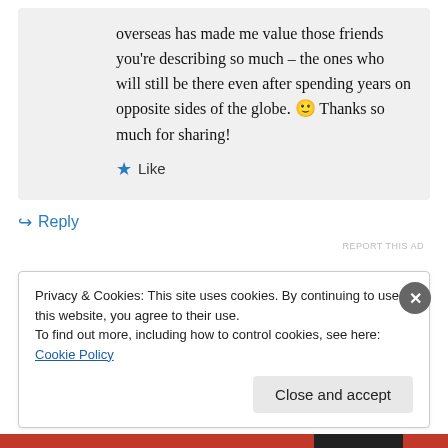overseas has made me value those friends you're describing so much – the ones who will still be there even after spending years on opposite sides of the globe. 🙂 Thanks so much for sharing!
★ Like
↪ Reply
REPORT THIS AD
Privacy & Cookies: This site uses cookies. By continuing to use this website, you agree to their use. To find out more, including how to control cookies, see here: Cookie Policy
Close and accept